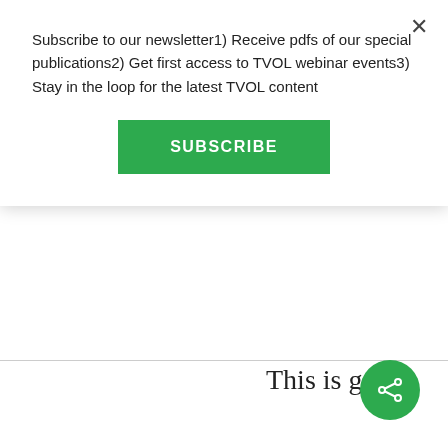Subscribe to our newsletter1) Receive pdfs of our special publications2) Get first access to TVOL webinar events3) Stay in the loop for the latest TVOL content
[Figure (other): Green SUBSCRIBE button]
This is good.
General public would be served well
[Figure (other): Green circular share button with share icon]